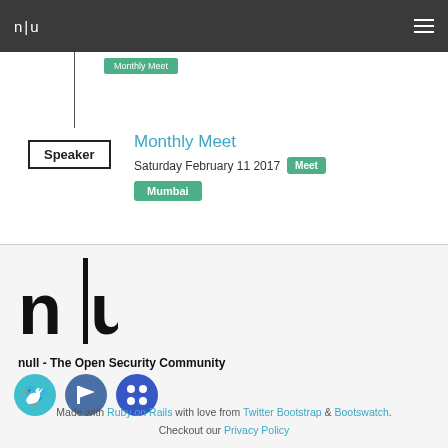n|u  [navigation menu]
[Figure (screenshot): Timeline vertical line with a green tag at top]
Speaker
Monthly Meet
Saturday February 11 2017  Meet  Mumbai
[Figure (logo): null - The Open Security Community large logo (n|u)]
null - The Open Security Community
[Figure (other): Social media icons: Twitter, flag icon, Meetup-style icon]
Made with Ruby on Rails with love from Twitter Bootstrap & Bootswatch. Checkout our Privacy Policy